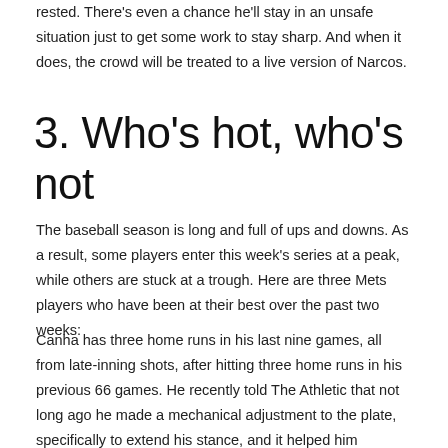rested. There's even a chance he'll stay in an unsafe situation just to get some work to stay sharp. And when it does, the crowd will be treated to a live version of Narcos.
3. Who's hot, who's not
The baseball season is long and full of ups and downs. As a result, some players enter this week's series at a peak, while others are stuck at a trough. Here are three Mets players who have been at their best over the past two weeks:
Canha has three home runs in his last nine games, all from late-inning shots, after hitting three home runs in his previous 66 games. He recently told The Athletic that not long ago he made a mechanical adjustment to the plate, specifically to extend his stance, and it helped him rediscover his power punch.
On the other hand, Alonso (.218/.271/…) and fellow All-Star Francisco